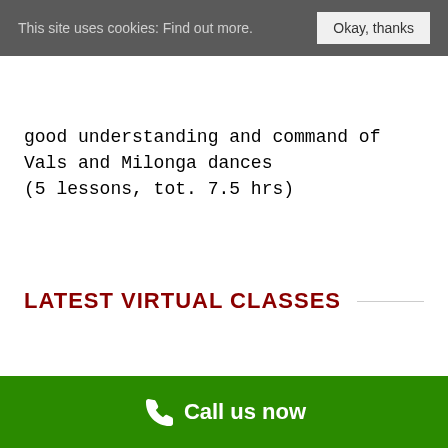This site uses cookies: Find out more.  Okay, thanks
good understanding and command of Vals and Milonga dances
(5 lessons, tot. 7.5 hrs)
LATEST VIRTUAL CLASSES
Call us now